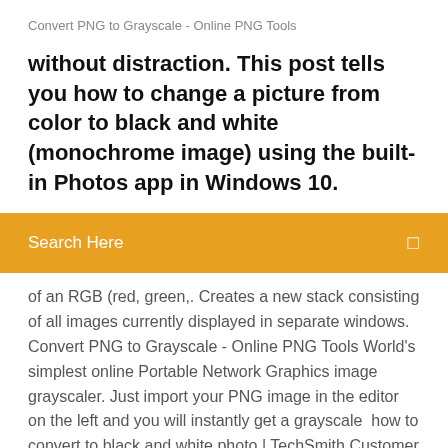Convert PNG to Grayscale - Online PNG Tools
without distraction. This post tells you how to change a picture from color to black and white (monochrome image) using the built-in Photos app in Windows 10.
[Figure (screenshot): Orange/yellow search bar with text 'Search Here' and a small icon on the right]
of an RGB (red, green,. Creates a new stack consisting of all images currently displayed in separate windows. Convert PNG to Grayscale - Online PNG Tools World's simplest online Portable Network Graphics image grayscaler. Just import your PNG image in the editor on the left and you will instantly get a grayscale  how to convert to black and white photo | TechSmith Customer ... Dec 8, 2017 How do I convert a colour image to greyscale or black and white.  Online Black and White Filters | FotoJet